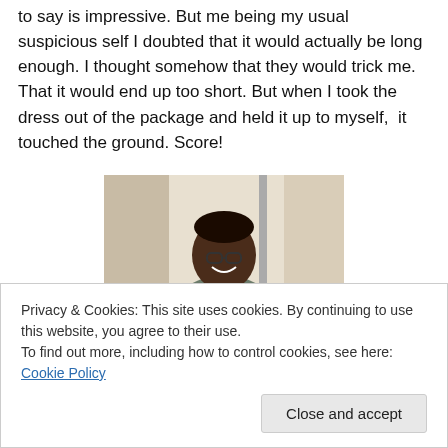to say is impressive. But me being my usual suspicious self I doubted that it would actually be long enough. I thought somehow that they would trick me. That it would end up too short. But when I took the dress out of the package and held it up to myself,  it touched the ground. Score!
[Figure (photo): A person wearing glasses and a grey top, smiling, standing indoors in a hallway.]
Privacy & Cookies: This site uses cookies. By continuing to use this website, you agree to their use.
To find out more, including how to control cookies, see here: Cookie Policy